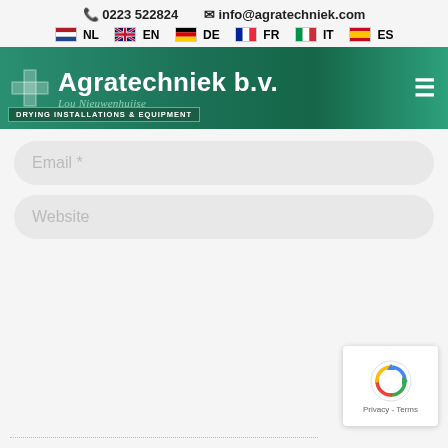📞 0223 522824  ✉ info@agratechniek.com
🇳🇱 NL  🇬🇧 EN  🇩🇪 DE  🇫🇷 FR  🇮🇹 IT  🇪🇸 ES
[Figure (logo): Agratechniek b.v. logo with green gradient banner, cross icon, brand name, tagline 'Lou Nieuwenburg', and 'DRYING INSTALLATIONS & EQUIPMENT' tag. Hamburger menu icon on right.]
Email *
Website
[Figure (other): reCAPTCHA widget with rotating arrows logo and 'Privacy - Terms' text]